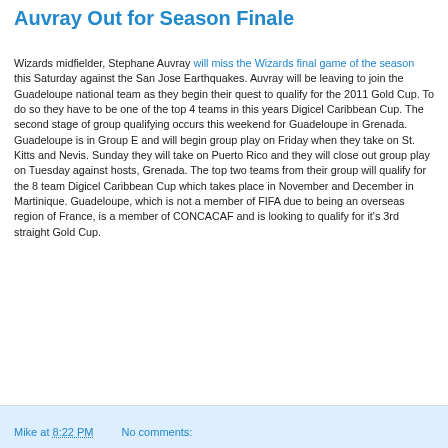Auvray Out for Season Finale
Wizards midfielder, Stephane Auvray will miss the Wizards final game of the season this Saturday against the San Jose Earthquakes. Auvray will be leaving to join the Guadeloupe national team as they begin their quest to qualify for the 2011 Gold Cup. To do so they have to be one of the top 4 teams in this years Digicel Caribbean Cup. The second stage of group qualifying occurs this weekend for Guadeloupe in Grenada. Guadeloupe is in Group E and will begin group play on Friday when they take on St. Kitts and Nevis. Sunday they will take on Puerto Rico and they will close out group play on Tuesday against hosts, Grenada. The top two teams from their group will qualify for the 8 team Digicel Caribbean Cup which takes place in November and December in Martinique. Guadeloupe, which is not a member of FIFA due to being an overseas region of France, is a member of CONCACAF and is looking to qualify for it's 3rd straight Gold Cup.
Mike at 8:22 PM   No comments: